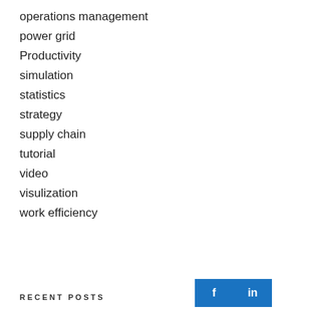operations management
power grid
Productivity
simulation
statistics
strategy
supply chain
tutorial
video
visulization
work efficiency
RECENT POSTS
[Figure (other): Social media icons: Facebook (f) and LinkedIn (in) buttons in blue]